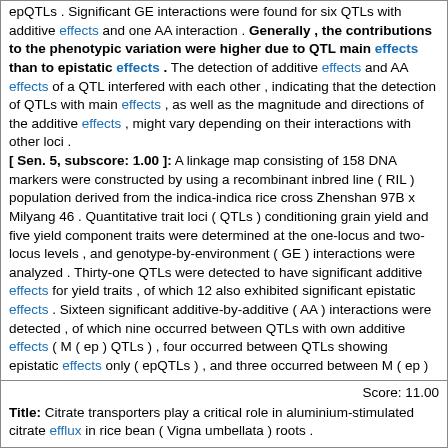epQTLs . Significant GE interactions were found for six QTLs with additive effects and one AA interaction . Generally , the contributions to the phenotypic variation were higher due to QTL main effects than to epistatic effects . The detection of additive effects and AA effects of a QTL interfered with each other , indicating that the detection of QTLs with main effects , as well as the magnitude and directions of the additive effects , might vary depending on their interactions with other loci .
[ Sen. 5, subscore: 1.00 ]: A linkage map consisting of 158 DNA markers were constructed by using a recombinant inbred line ( RIL ) population derived from the indica-indica rice cross Zhenshan 97B x Milyang 46 . Quantitative trait loci ( QTLs ) conditioning grain yield and five yield component traits were determined at the one-locus and two-locus levels , and genotype-by-environment ( GE ) interactions were analyzed . Thirty-one QTLs were detected to have significant additive effects for yield traits , of which 12 also exhibited significant epistatic effects . Sixteen significant additive-by-additive ( AA ) interactions were detected , of which nine occurred between QTLs with own additive effects ( M ( ep ) QTLs ) , four occurred between QTLs showing epistatic effects only ( epQTLs ) , and three occurred between M ( ep ) QTLs and epQTLs . Significant GE interactions were found for six QTLs with additive effects and one AA interaction . Generally , the contributions to the phenotypic variation were higher due to QTL main effects than to epistatic effects . The detection of additive effects and AA effects of a QTL interfered with each other , indicating that the detection of QTLs with main effects , as well as the magnitude and directions of the additive effects , might vary depending on their interactions with other loci .
Score: 11.00
Title: Citrate transporters play a critical role in aluminium-stimulated citrate efflux in rice bean ( Vigna umbellata ) roots .